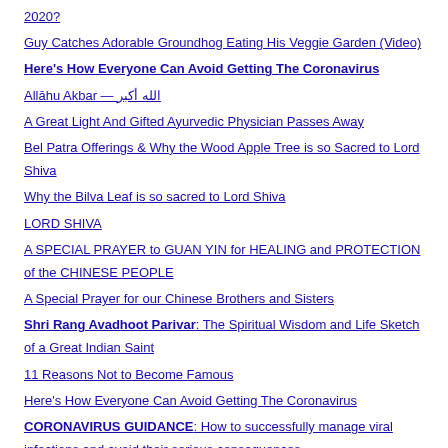2020?
Guy Catches Adorable Groundhog Eating His Veggie Garden (Video)
Here's How Everyone Can Avoid Getting The Coronavirus
Allāhu Akbar — الله أكبر
A Great Light And Gifted Ayurvedic Physician Passes Away
Bel Patra Offerings & Why the Wood Apple Tree is so Sacred to Lord Shiva
Why the Bilva Leaf is so sacred to Lord Shiva
LORD SHIVA
A SPECIAL PRAYER to GUAN YIN for HEALING and PROTECTION of the CHINESE PEOPLE
A Special Prayer for our Chinese Brothers and Sisters
Shri Rang Avadhoot Parivar: The Spiritual Wisdom and Life Sketch of a Great Indian Saint
11 Reasons Not to Become Famous
Here's How Everyone Can Avoid Getting The Coronavirus
CORONAVIRUS GUIDANCE: How to successfully manage viral infections and avoid their serious consequences